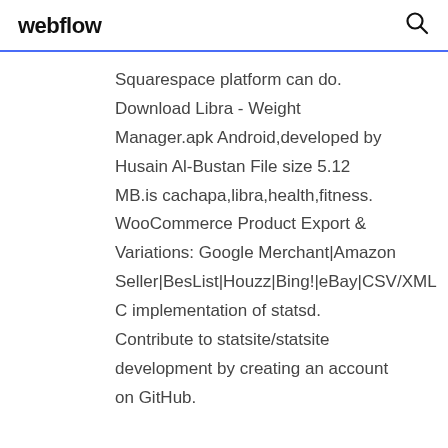webflow
Squarespace platform can do. Download Libra - Weight Manager.apk Android,developed by Husain Al-Bustan File size 5.12 MB.is cachapa,libra,health,fitness. WooCommerce Product Export & Variations: Google Merchant|Amazon Seller|BesList|Houzz|Bing!|eBay|CSV/XML C implementation of statsd. Contribute to statsite/statsite development by creating an account on GitHub.